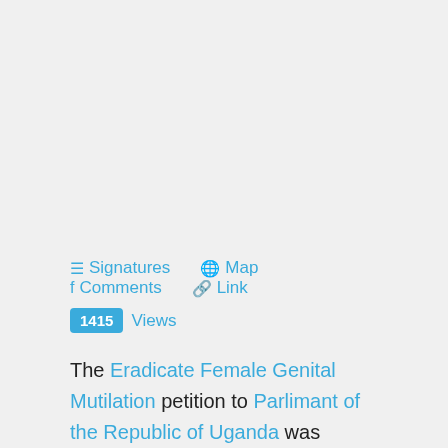☰ Signatures  🌐 Map  f Comments  🔗 Link
1415 Views
The Eradicate Female Genital Mutilation petition to Parlimant of the Republic of Uganda was written by Ahabwe Mugerwa Michael and is in the category